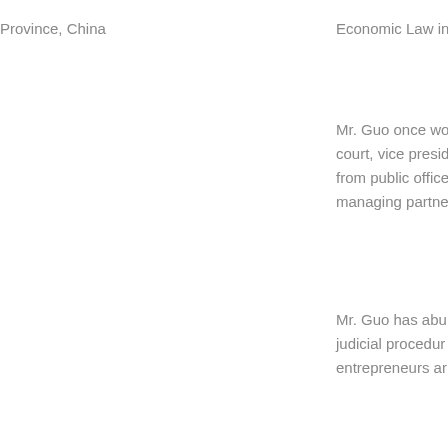Province, China
Economic Law in
Mr. Guo once wo court, vice presid from public office managing partne
Mr. Guo has abu judicial procedur entrepreneurs ar